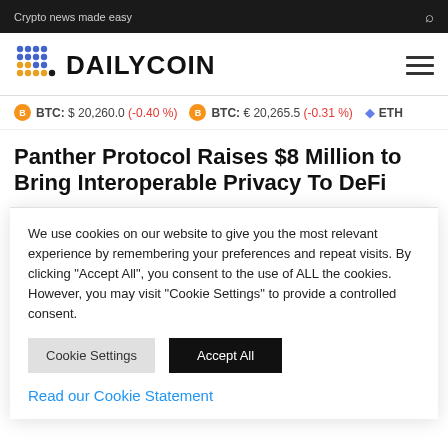Crypto news made easy
[Figure (logo): DailyCoin logo with colorful dot grid and bold DAILYCOIN text]
BTC: $ 20,260.0 (-0.40 %)   BTC: € 20,265.5 (-0.31 %)   ETH
Panther Protocol Raises $8 Million to Bring Interoperable Privacy To DeFi
We use cookies on our website to give you the most relevant experience by remembering your preferences and repeat visits. By clicking "Accept All", you consent to the use of ALL the cookies. However, you may visit "Cookie Settings" to provide a controlled consent.
Cookie Settings   Accept All
Read our Cookie Statement